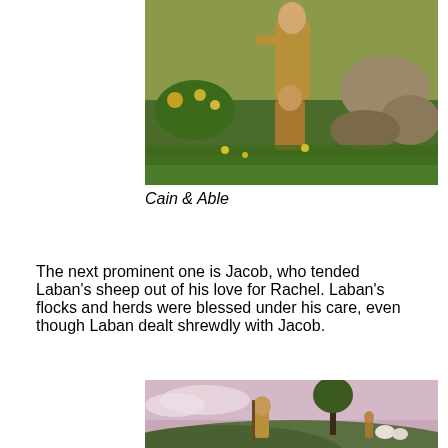[Figure (illustration): Painting of Cain and Abel scene with two figures in a lush green outdoor setting with rocks and vegetation]
Cain & Able
The next prominent one is Jacob, who tended Laban's sheep out of his love for Rachel. Laban's flocks and herds were blessed under his care, even though Laban dealt shrewdly with Jacob.
[Figure (illustration): Painting of a shepherd figure with a staff standing near a tree at sunset, with sheep and another figure in the background]